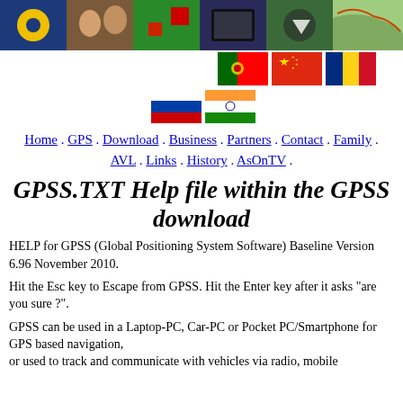[Figure (photo): Website header banner with collage of images including GPS maps, people, and nature]
[Figure (illustration): Country flag icons: Portugal, China, Romania (top row), Russia, India (bottom row) arranged in staircase pattern]
Home . GPS . Download . Business . Partners . Contact . Family . AVL . Links . History . AsOnTV .
GPSS.TXT Help file within the GPSS download
HELP for GPSS (Global Positioning System Software) Baseline Version 6.96 November 2010.
Hit the Esc key to Escape from GPSS. Hit the Enter key after it asks "are you sure ?".
GPSS can be used in a Laptop-PC, Car-PC or Pocket PC/Smartphone for GPS based navigation, or used to track and communicate with vehicles via radio, mobile